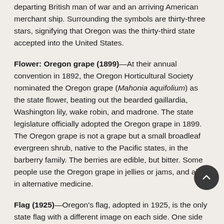departing British man of war and an arriving American merchant ship. Surrounding the symbols are thirty-three stars, signifying that Oregon was the thirty-third state accepted into the United States.
Flower: Oregon grape (1899)—At their annual convention in 1892, the Oregon Horticultural Society nominated the Oregon grape (Mahonia aquifolium) as the state flower, beating out the bearded gaillardia, Washington lily, wake robin, and madrone. The state legislature officially adopted the Oregon grape in 1899. The Oregon grape is not a grape but a small broadleaf evergreen shrub, native to the Pacific states, in the barberry family. The berries are edible, but bitter. Some people use the Oregon grape in jellies or jams, and also in alternative medicine.
Flag (1925)—Oregon's flag, adopted in 1925, is the only state flag with a different image on each side. One side shows a shield from the state seal, under the banner "State of Oregon," and includes the date 1859; the year Oregon became a state. On the reverse side is a beaver.